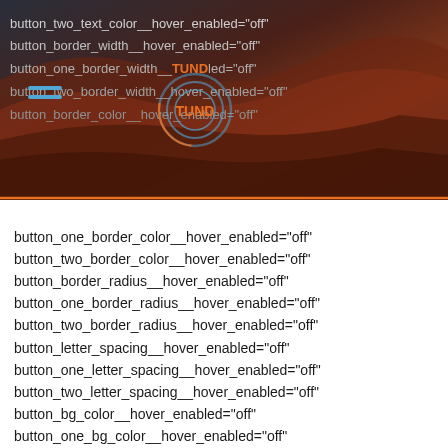[Figure (screenshot): Dark reddish-brown wave/sand dune background image in the top portion of the page with a hamburger menu icon and TUND logo overlay]
button_two_text_color__hover_enabled="off"
button_border_width__hover_enabled="off"
button_one_border_width__hover_enabled="off"
button_two_border_width__hover_enabled="off"
button_border_color__hover_enabled="off"
button_one_border_color__hover_enabled="off"
button_two_border_color__hover_enabled="off"
button_border_radius__hover_enabled="off"
button_one_border_radius__hover_enabled="off"
button_two_border_radius__hover_enabled="off"
button_letter_spacing__hover_enabled="off"
button_one_letter_spacing__hover_enabled="off"
button_two_letter_spacing__hover_enabled="off"
button_bg_color__hover_enabled="off"
button_one_bg_color__hover_enabled="off"
button_two_bg_color__hover_enabled="off"]
[/et_pb_button][et_pb_divider disabled_on="on|on|off"
admin_label="Small Divider" _builder_version="3.23.4"
max_width="30px" module_alignment="right" height="20px"
custom_padding="|15px||"
[/et_pb_divider][/et_pb_column][/et_pb_row][et_pb_row
_builder_version="3.25" background_size="initial"
background_position="top_left" background_repeat="repeat"
max_width="700px" custom_margin="40px||-179px|"
custom_margin_tablet="0px||-90px|"